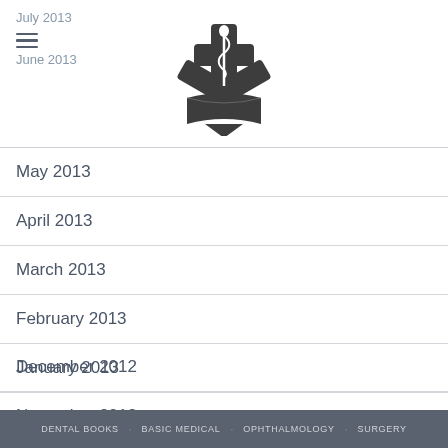July 2013 | June 2013 [with menu icon and medical logo]
May 2013
April 2013
March 2013
February 2013
January 2013
December 2012
November 2012
DENTAL BOOKS   BASIC MEDICAL   OPHTHALMOLOGY   SURGERY